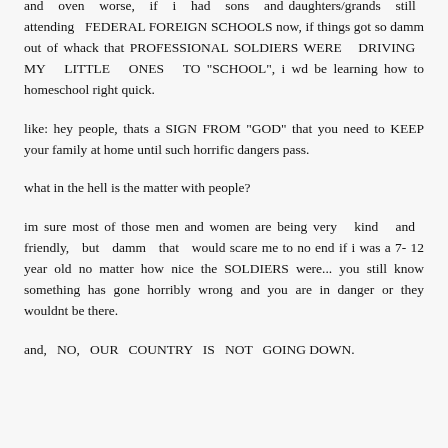and oven worse, if i had sons and daughters/grands still attending FEDERAL FOREIGN SCHOOLS now, if things got so damm out of whack that PROFESSIONAL SOLDIERS WERE DRIVING MY LITTLE ONES TO "SCHOOL", i wd be learning how to homeschool right quick.
like: hey people, thats a SIGN FROM "GOD" that you need to KEEP your family at home until such horrific dangers pass.
what in the hell is the matter with people?
im sure most of those men and women are being very kind and friendly, but damm that would scare me to no end if i was a 7- 12 year old no matter how nice the SOLDIERS were... you still know something has gone horribly wrong and you are in danger or they wouldnt be there.
and, NO, OUR COUNTRY IS NOT GOING DOWN.